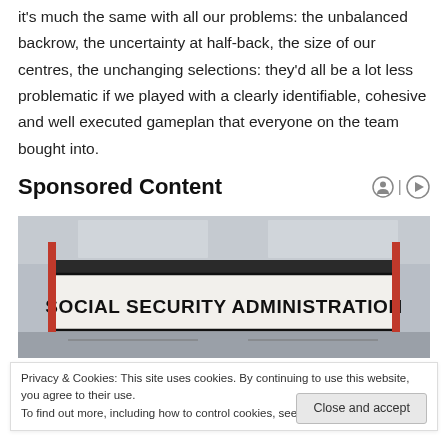it's much the same with all our problems: the unbalanced backrow, the uncertainty at half-back, the size of our centres, the unchanging selections: they'd all be a lot less problematic if we played with a clearly identifiable, cohesive and well executed gameplan that everyone on the team bought into.
Sponsored Content
[Figure (photo): Photograph of a Social Security Administration building exterior showing a large sign reading 'SOCIAL SECURITY ADMINISTRATION' with red pillars on each side.]
Privacy & Cookies: This site uses cookies. By continuing to use this website, you agree to their use.
To find out more, including how to control cookies, see here: Cookie Policy